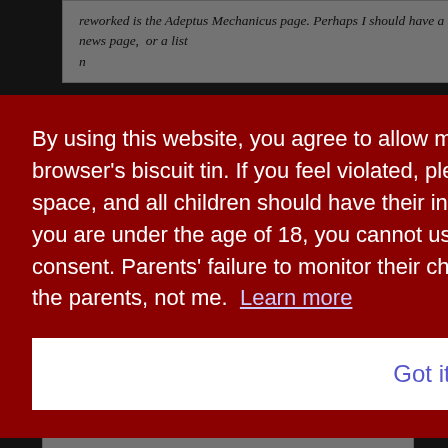reworked is the Adeptus Mechanicus page. Perhaps I should have a news page, or a list n
By using this website, you agree to allow me to place cookies all up in your browser's biscuit tin. If you feel violated, please leave. The internet is an adult space, and all children should have their internet use regulated by their parents. If you are under the age of 18, you cannot use this site without your parents' explicit consent. Parents' failure to monitor their children's internet activity is a failure of the parents, not me. Learn more
Got it